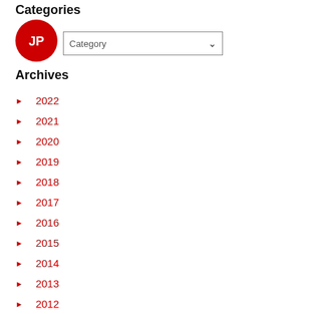Categories
[Figure (logo): JP logo - red circle with white JP text]
Category (dropdown selector)
Archives
► 2022
► 2021
► 2020
► 2019
► 2018
► 2017
► 2016
► 2015
► 2014
► 2013
► 2012
► 2011